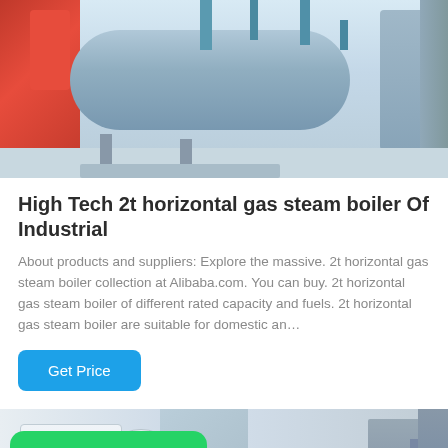[Figure (photo): Industrial gas steam boiler equipment in a factory setting, showing red burner components, blue cylindrical boiler, pipes and fittings on a light-colored floor]
High Tech 2t horizontal gas steam boiler Of Industrial
About products and suppliers: Explore the massive. 2t horizontal gas steam boiler collection at Alibaba.com. You can buy. 2t horizontal gas steam boiler of different rated capacity and fuels. 2t horizontal gas steam boiler are suitable for domestic an...
[Figure (other): Get Price button - blue rounded rectangle button with white text]
[Figure (photo): Industrial boiler room with white boiler units, pipes, and equipment. WhatsApp badge overlaid in bottom-left corner with green background and white WhatsApp icon and text.]